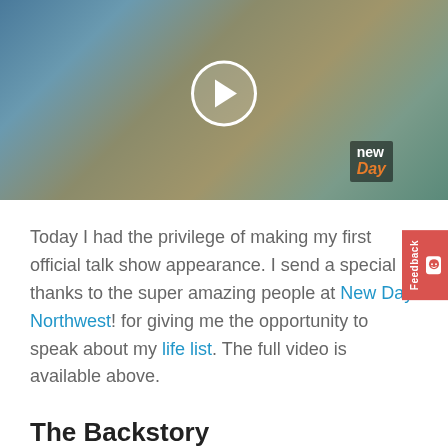[Figure (screenshot): Video thumbnail showing two people on a talk show set (New Day Northwest). A man in dark clothing on the left gestures with his hands, and a woman in a white jacket on the right. A play button circle overlay is in the center. A 'New Day' logo watermark appears bottom right.]
Today I had the privilege of making my first official talk show appearance. I send a special thanks to the super amazing people at New Day Northwest! for giving me the opportunity to speak about my life list. The full video is available above.
The Backstory
I have known since the beginning that getting